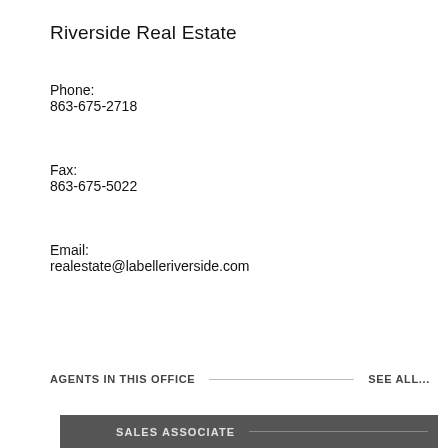Riverside Real Estate
Phone:
863-675-2718
Fax:
863-675-5022
Email:
realestate@labelleriverside.com
AGENTS IN THIS OFFICE
SEE ALL...
SALES ASSOCIATE